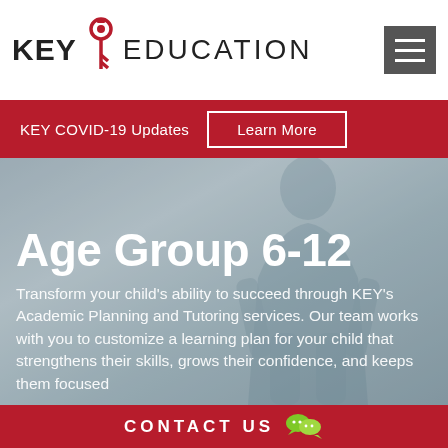KEY EDUCATION
KEY COVID-19 Updates   Learn More
Age Group 6-12
Transform your child's ability to succeed through KEY's Academic Planning and Tutoring services. Our team works with you to customize a learning plan for your child that strengthens their skills, grows their confidence, and keeps them focused
CONTACT US